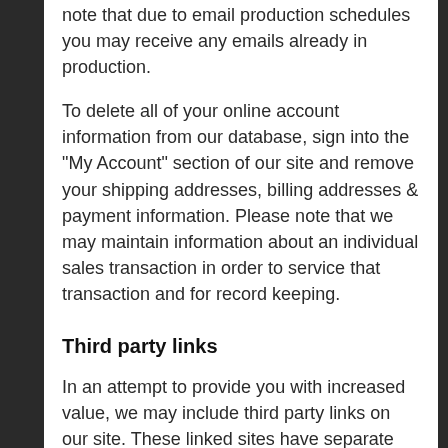note that due to email production schedules you may receive any emails already in production.
To delete all of your online account information from our database, sign into the "My Account" section of our site and remove your shipping addresses, billing addresses & payment information. Please note that we may maintain information about an individual sales transaction in order to service that transaction and for record keeping.
Third party links
In an attempt to provide you with increased value, we may include third party links on our site. These linked sites have separate and independent privacy policies. We therefore have no responsibility or liability for the content and activities of these linked sites. Nonetheless, we seek to protect the integrity of our site and welcome any feedback about these linked sites (including if a specific link does not work).
Changes to our policy